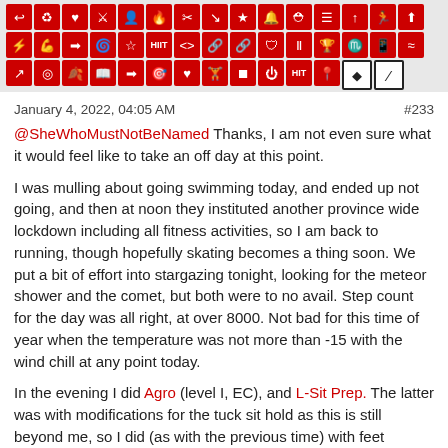[Figure (other): Grid of red icon tiles representing fitness/activity categories, with two outline tiles at the end]
January 4, 2022, 04:05 AM
#233
@SheWhoMustNotBeNamed Thanks, I am not even sure what it would feel like to take an off day at this point.
I was mulling about going swimming today, and ended up not going, and then at noon they instituted another province wide lockdown including all fitness activities, so I am back to running, though hopefully skating becomes a thing soon. We put a bit of effort into stargazing tonight, looking for the meteor shower and the comet, but both were to no avail. Step count for the day was all right, at over 8000. Not bad for this time of year when the temperature was not more than -15 with the wind chill at any point today.
In the evening I did Agro (level I, EC), and L-Sit Prep. The latter was with modifications for the tuck sit hold as this is still beyond me, so I did (as with the previous time) with feet extended on the floor. I did 4-2-2 on pullups in the first workout, as my arm is still stiff and I am not pushing too far too fast. It is a far cry from the reps that I was doing last year, but I will just keep working at it.